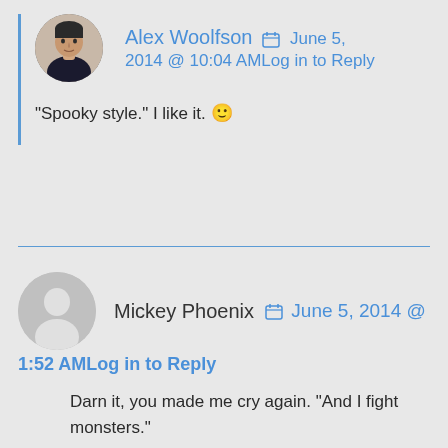Alex Woolfson  June 5, 2014 @ 10:04 AM  Log in to Reply
“Spooky style.” I like it. 🙂
Mickey Phoenix  June 5, 2014 @ 1:52 AM  Log in to Reply
Darn it, you made me cry again. “And I fight monsters.”
You make the best damn heroes, Alex.